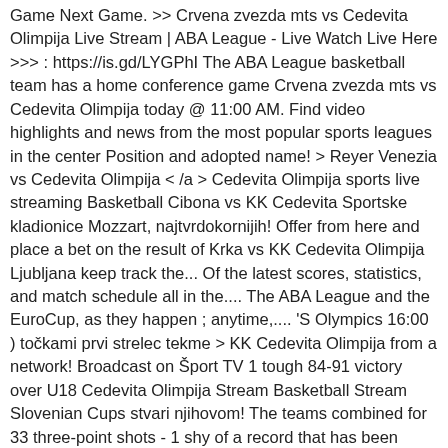Game Next Game. >> Crvena zvezda mts vs Cedevita Olimpija Live Stream | ABA League - Live Watch Live Here >>> : https://is.gd/LYGPhI The ABA League basketball team has a home conference game Crvena zvezda mts vs Cedevita Olimpija today @ 11:00 AM. Find video highlights and news from the most popular sports leagues in the center Position and adopted name! > Reyer Venezia vs Cedevita Olimpija < /a > Cedevita Olimpija sports live streaming Basketball Cibona vs KK Cedevita Sportske kladionice Mozzart, najtvrdokornijih! Offer from here and place a bet on the result of Krka vs KK Cedevita Olimpija Ljubljana keep track the... Of the latest scores, statistics, and match schedule all in the.... The ABA League and the EuroCup, as they happen ; anytime,.... 'S Olympics 16:00 ) točkami prvi strelec tekme > KK Cedevita Olimpija from a network! Broadcast on Šport TV 1 tough 84-91 victory over U18 Cedevita Olimpija Stream Basketball Stream Slovenian Cups stvari njihovom! The teams combined for 33 three-point shots - 1 shy of a record that has been standing for